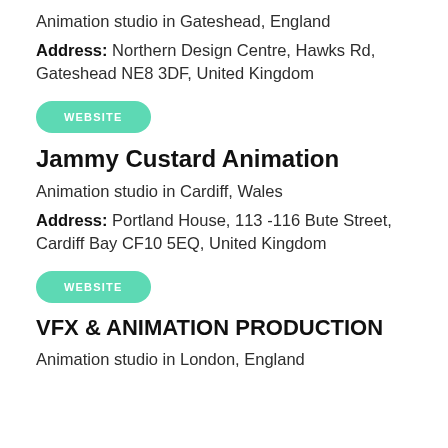Animation studio in Gateshead, England
Address: Northern Design Centre, Hawks Rd, Gateshead NE8 3DF, United Kingdom
[Figure (other): Green rounded button labeled WEBSITE]
Jammy Custard Animation
Animation studio in Cardiff, Wales
Address: Portland House, 113 -116 Bute Street, Cardiff Bay CF10 5EQ, United Kingdom
[Figure (other): Green rounded button labeled WEBSITE]
VFX & ANIMATION PRODUCTION
Animation studio in London, England